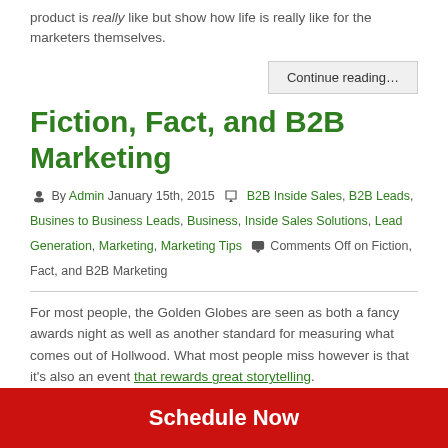product is really like but show how life is really like for the marketers themselves.
Continue reading…
Fiction, Fact, and B2B Marketing
By Admin January 15th, 2015  B2B Inside Sales, B2B Leads, Busines to Business Leads, Business, Inside Sales Solutions, Lead Generation, Marketing, Marketing Tips  Comments Off on Fiction, Fact, and B2B Marketing
For most people, the Golden Globes are seen as both a fancy awards night as well as another standard for measuring what comes out of Hollwood. What most people miss however is that it's also an event that rewards great storytelling.
And in B2B marketing, storytelling has become the new Golden
Schedule Now